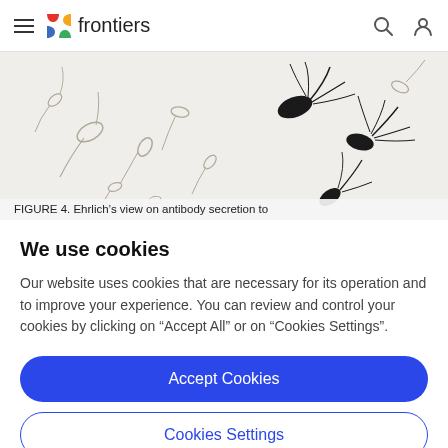frontiers
[Figure (illustration): Scientific illustration showing sperm-like cells (some dark/black, some light/outline) scattered across a light background, depicting Ehrlich's view on antibody secretion.]
FIGURE 4. Ehrlich's view on antibody secretion to
We use cookies
Our website uses cookies that are necessary for its operation and to improve your experience. You can review and control your cookies by clicking on "Accept All" or on "Cookies Settings".
Accept Cookies
Cookies Settings